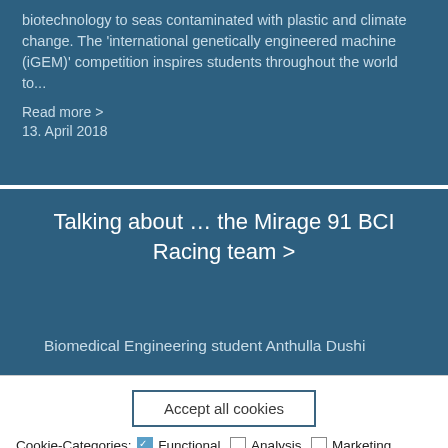biotechnology to seas contaminated with plastic and climate change. The 'international genetically engineered machine (iGEM)' competition inspires students throughout the world to...
Read more >
13. April 2018
Talking about … the Mirage 91 BCI Racing team >
Biomedical Engineering student Anthulla Dushi
Accept all cookies
Cookie-Categories: ☑ Functional ☐ Analysis ☐ Marketing We use cookies in order to be able to provide you with the best possible service in the future. In the privacy policy you will find further information as well as the possibility of withdrawal.
Save preferences